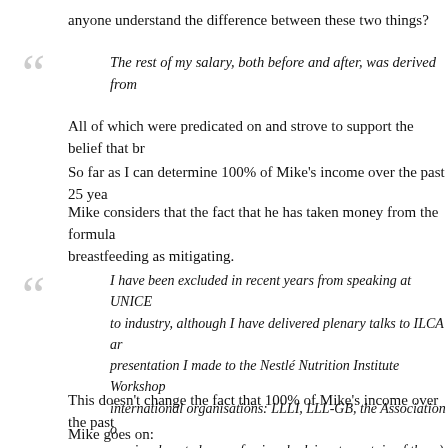anyone understand the difference between these two things?
The rest of my salary, both before and after, was derived from
All of which were predicated on and strove to support the belief that br
So far as I can determine 100% of Mike's income over the past 25 yea
Mike considers that the fact that he has taken money from the formula breastfeeding as mitigating.
I have been excluded in recent years from speaking at UNICE to industry, although I have delivered plenary talks to ILCA ar presentation I made to the Nestlé Nutrition Institute Workshop international organisations: LLLI, LLL-GB, the Association o previously acted as professional adviser to certain of these).
This doesn't change the fact that 100% of Mike's income over the past
Mike goes on: